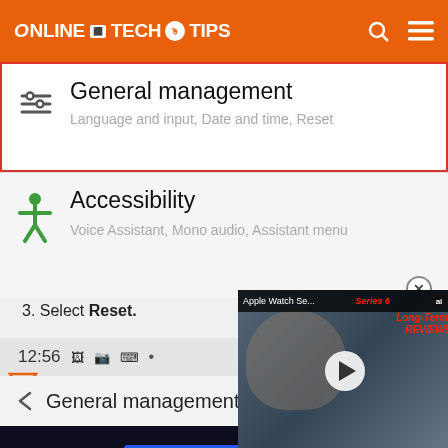ONLINE TECH TIPS
[Figure (screenshot): Android Settings menu showing General Management item selected with red border, and Accessibility item below it]
3. Select Reset.
[Figure (screenshot): Video overlay: Apple Watch Series 6 Long-Term REVIEW! with play button]
[Figure (screenshot): Android phone status bar and General Management navigation bar]
[Figure (screenshot): Hulu Disney+ ESPN+ GET THE DISNEY BUNDLE advertisement banner]